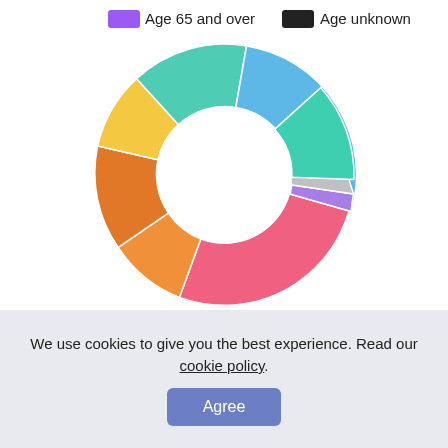[Figure (donut-chart): Donut chart showing age distribution with multiple colored segments. Legend shows 'Age 65 and over' (purple) and 'Age unknown' (black).]
We use cookies to give you the best experience. Read our cookie policy.